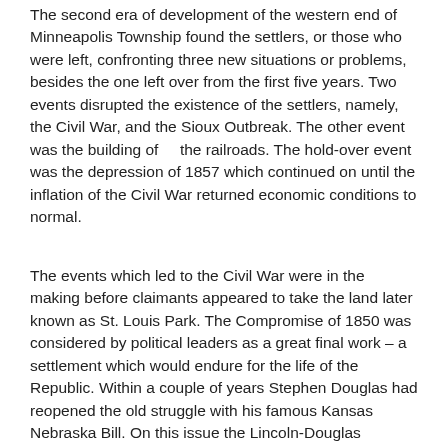The second era of development of the western end of Minneapolis Township found the settlers, or those who were left, confronting three new situations or problems, besides the one left over from the first five years. Two events disrupted the existence of the settlers, namely, the Civil War, and the Sioux Outbreak. The other event was the building of    the railroads. The hold-over event was the depression of 1857 which continued on until the inflation of the Civil War returned economic conditions to normal.
The events which led to the Civil War were in the making before claimants appeared to take the land later known as St. Louis Park. The Compromise of 1850 was considered by political leaders as a great final work – a settlement which would endure for the life of the Republic. Within a couple of years Stephen Douglas had reopened the old struggle with his famous Kansas Nebraska Bill. On this issue the Lincoln-Douglas debates were argued and the struggle became more protracted as more people became interested. Buchanan was elected president in 1856,, the last Democrat to be chosen for the high office until Cleveland. His party was like a big tent containing all modes and shades of opinion on states rights,